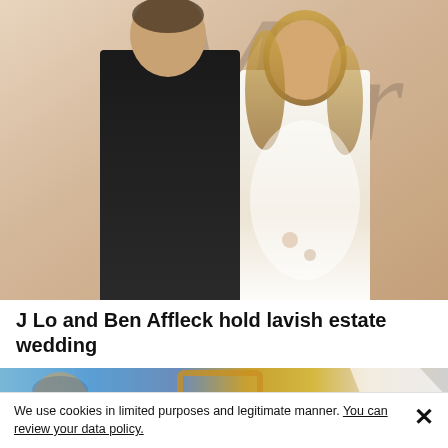[Figure (photo): J Lo and Ben Affleck posing together in front of a backdrop with large script lettering. Man in black suit on left, woman in white dress on right.]
J Lo and Ben Affleck hold lavish estate wedding
[Figure (photo): Partial view of a second news article image, showing a person's face against a blue sky background with a gold-framed element.]
We use cookies in limited purposes and legitimate manner. You can review your data policy.